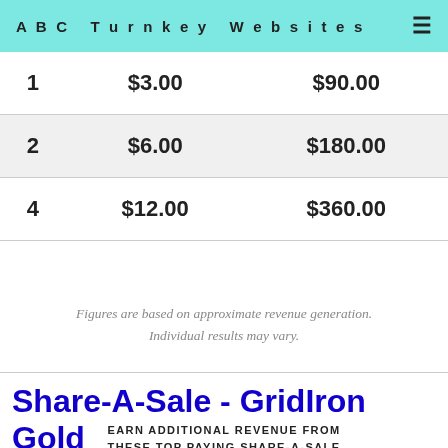ABC Turnkey Websites
| 1 | $3.00 | $90.00 |
| 2 | $6.00 | $180.00 |
| 4 | $12.00 | $360.00 |
Figures are based on approximate revenue generation. Individual results may vary.
Share-A-Sale - GridIron Gold
EARN ADDITIONAL REVENUE FROM THESE TOP PAYING SHARE-A-SALE BANNER ADS FROM GridIron Gold